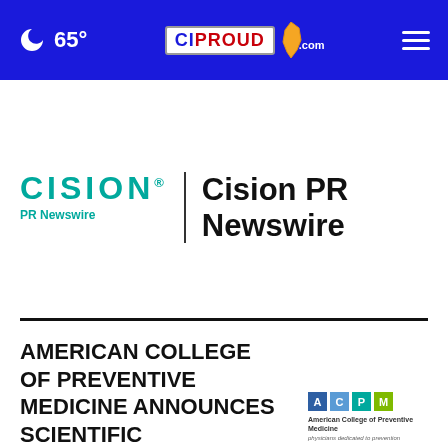🌙 65° | CIPROUD.com | ≡
[Figure (logo): Cision PR Newswire logo with teal CISION text, PR Newswire subtext, vertical divider, and bold Cision PR Newswire text]
AMERICAN COLLEGE OF PREVENTIVE MEDICINE ANNOUNCES SCIENTIFIC EXCELLENCE AWARD WINNERS
[Figure (logo): ACPM logo with colored letter squares A C P M and American College of Preventive Medicine text, physicians dedicated to prevention tagline]